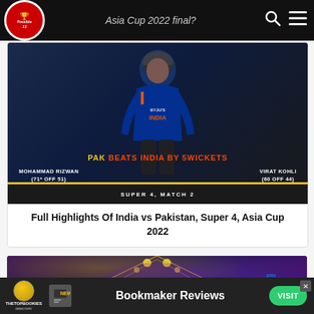Asia Cup 2022 final?
[Figure (photo): Cricket match graphic showing PAK BEATS INDIA BY 5WICKETS, Super 4, Match 2, Asia Cup 2022. Stats: MOHAMMAD RIZWAN (71* OFF 51), VIRAT KOHLI (60 OFF 44). Player in India jersey shown.]
Full Highlights Of India vs Pakistan, Super 4, Asia Cup 2022
[Figure (photo): Stadium photo with colorful lights and crowd atmosphere]
[Figure (other): Advertisement banner: TheTopBookies Bookmaker Reviews - VISIT button]